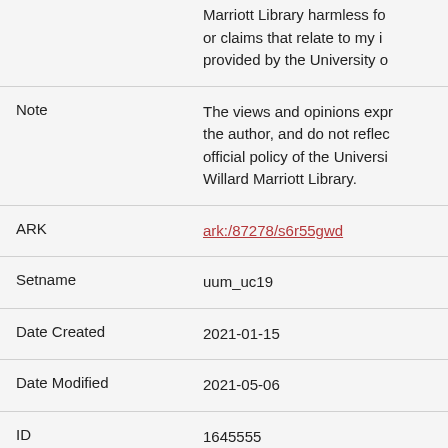| Field | Value |
| --- | --- |
|  | Marriott Library harmless fo... or claims that relate to my i... provided by the University o... |
| Note | The views and opinions expr... the author, and do not reflec... official policy of the Universi... Willard Marriott Library. |
| ARK | ark:/87278/s6r55gwd |
| Setname | uum_uc19 |
| Date Created | 2021-01-15 |
| Date Modified | 2021-05-06 |
| ID | 1645555 |